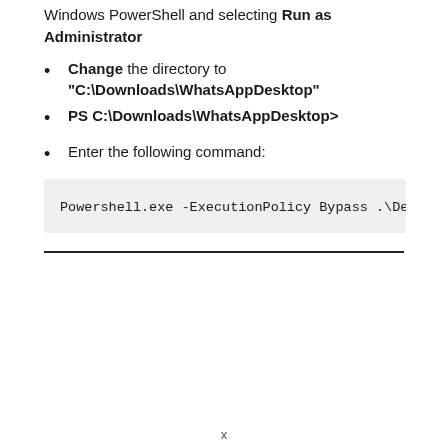Windows PowerShell and selecting Run as Administrator
Change the directory to “C:\Downloads\WhatsAppDesktop”
PS C:\Downloads\WhatsAppDesktop>
Enter the following command:
Powershell.exe -ExecutionPolicy Bypass .\De
x